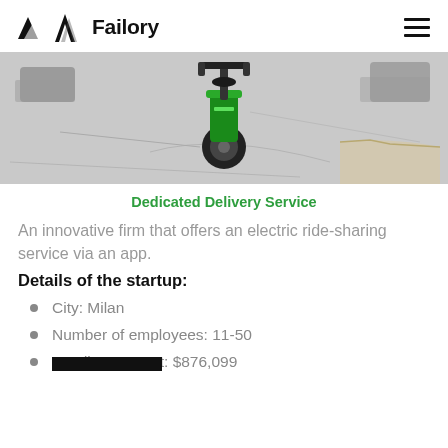Failory
[Figure (photo): A green electric scooter photographed from behind on a street/road surface, cropped to show mostly the lower back portion of the scooter]
Dedicated Delivery Service
An innovative firm that offers an electric ride-sharing service via an app.
Details of the startup:
City: Milan
Number of employees: 11-50
Funding amount: $876,099